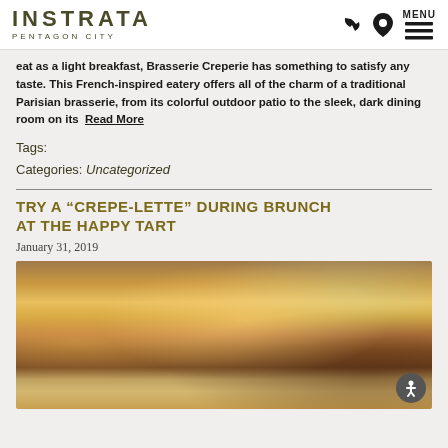INSTRATA PENTAGON CITY
eat as a light breakfast, Brasserie Creperie has something to satisfy any taste. This French-inspired eatery offers all of the charm of a traditional Parisian brasserie, from its colorful outdoor patio to the sleek, dark dining room on its  Read More
Tags:
Categories: Uncategorized
TRY A “CREPE-LETTE” DURING BRUNCH AT THE HAPPY TART
January 31, 2019
[Figure (photo): Photo of crepes on a white plate with mandarin orange slices and powdered sugar, with colorful table setting in background]